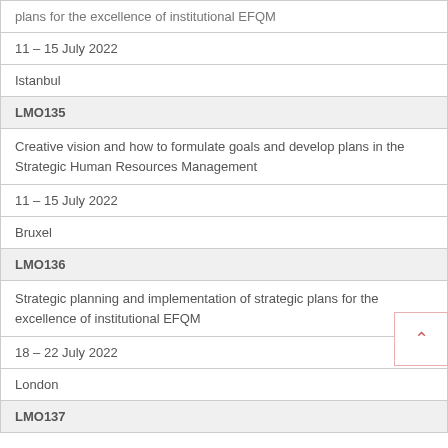| plans for the excellence of institutional EFQM |
| 11 – 15 July 2022 |
| Istanbul |
| LMO135 |
| Creative vision and how to formulate goals and develop plans in the Strategic Human Resources Management |
| 11 – 15 July 2022 |
| Bruxel |
| LMO136 |
| Strategic planning and implementation of strategic plans for the excellence of institutional EFQM |
| 18 – 22 July 2022 |
| London |
| LMO137 |